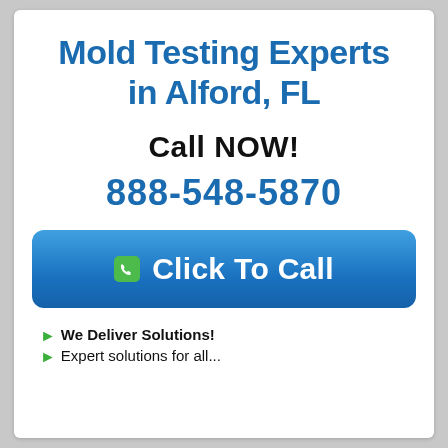Mold Testing Experts in Alford, FL
Call NOW!
888-548-5870
[Figure (other): Blue rounded button with phone icon and text 'Click To Call']
We Deliver Solutions!
Expert solutions for all...